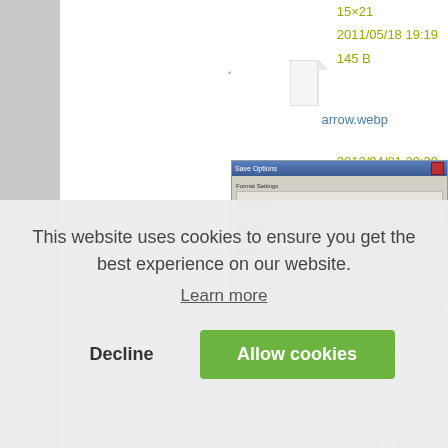15×21
2011/05/18 19:19
145 B
[Figure (screenshot): File icon for arrow.webp with filename link and metadata showing 2013/04/01 20:28, 64 B]
[Figure (screenshot): Screenshot thumbnail of a Save Options dialog window]
2013/04/01 20:28
64 B
This website uses cookies to ensure you get the best experience on our website.
Learn more
Decline
Allow cookies